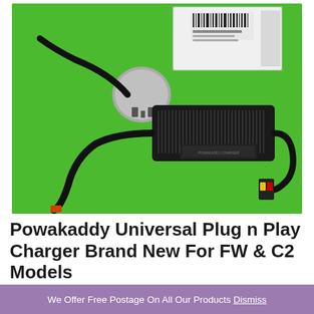[Figure (photo): A black electric golf trolley battery charger with UK 3-pin plug and cables on a green background, with a white product box visible in the top right corner. The charger is a rectangular black brick unit with ventilation slots. The cable has a yellow and red connector at one end.]
Powakaddy Universal Plug n Play Charger Brand New For FW & C2 Models
We Offer Free Postage On All Our Products Dismiss